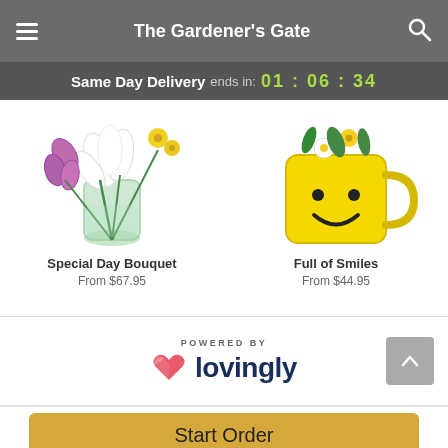The Gardener's Gate
Same Day Delivery ends in: 01 : 06 : 34
[Figure (photo): Photo of a flower bouquet in a glass vase with white lilies and purple orchids — Special Day Bouquet]
Special Day Bouquet
From $67.95
[Figure (photo): Photo of a yellow smiley face mug filled with yellow and white flowers — Full of Smiles]
Full of Smiles
From $44.95
[Figure (logo): Lovingly logo with pink heart icon and dark blue 'lovingly' wordmark, preceded by 'POWERED BY' text]
Start Order